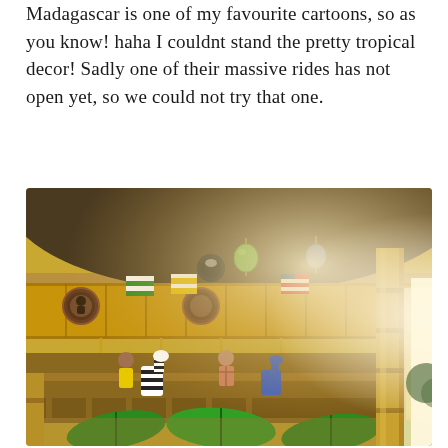Madagascar is one of my favourite cartoons, so as you know! haha I couldnt stand the pretty tropical decor! Sadly one of their massive rides has not open yet, so we could not try that one.
[Figure (photo): A tropical-themed carousel/merry-go-round with bamboo columns, colorful hanging flags and decorations, large green leaf decorations at the base, people riding the carousel, warm golden lighting, taken indoors at what appears to be a theme park attraction.]